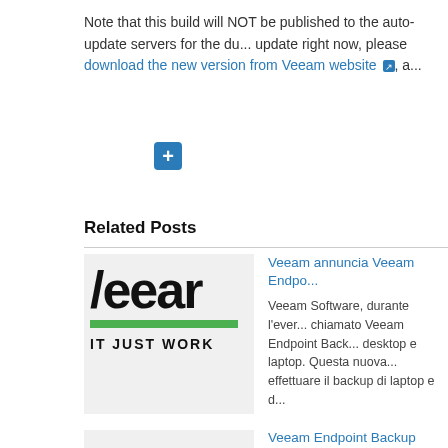Note that this build will NOT be published to the auto-update servers for the du... update right now, please download the new version from Veeam website, a...
[Figure (other): Blue plus button icon]
Related Posts
[Figure (logo): Veeam logo with green bar and 'IT JUST WORK' text on grey background, first related post]
Veeam annuncia Veeam Endpo...

Veeam Software, durante l'ever... chiamato Veeam Endpoint Back... desktop e laptop. Questa nuova... effettuare il backup di laptop e d...
[Figure (logo): Veeam logo with green bar and 'IT JUST WORK' text on grey background, second related post]
Veeam announce Veeam Endpo...

Veeam Software, during the Vee... Backup FREE, a simple and fre... Windows-based laptops and de... (network attached storage) sha...
Veeam Endpoint Backup FREE...